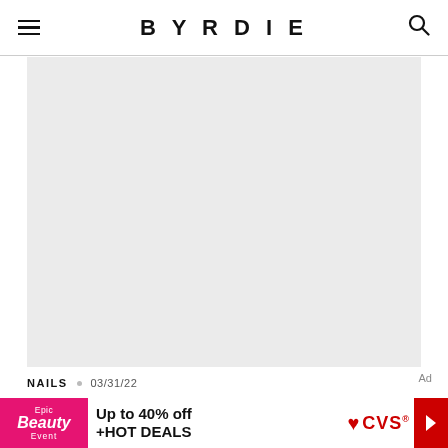BYRDIE
[Figure (photo): Large light gray placeholder image area]
NAILS • 03/31/22
[Figure (other): CVS Epic Beauty Event advertisement banner: Up to 40% off +HOT DEALS]